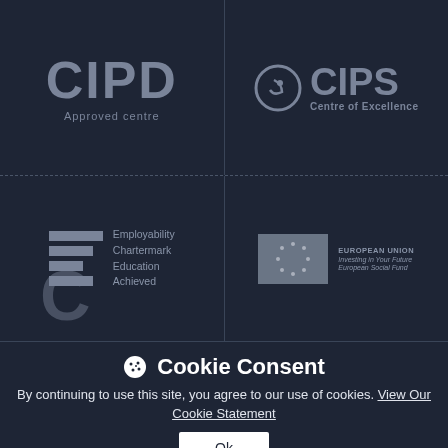[Figure (logo): CIPD Approved centre logo in grey on dark background]
[Figure (logo): CIPS Centre of Excellence logo with circular emblem in grey on dark background]
[Figure (logo): Employability Chartermark Education Achieved logo with stacked bars and C letter mark]
[Figure (logo): European Union Investing in Your Future European Social Fund logo with EU flag stars]
Cookie Consent
By continuing to use this site, you agree to our use of cookies. View Our Cookie Statement
Ok